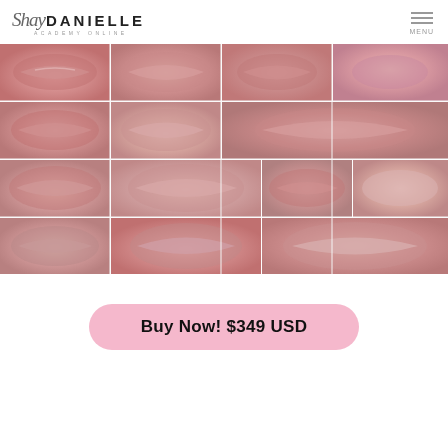Shay DANIELLE ACADEMY ONLINE — MENU
[Figure (photo): Collage of multiple close-up photos of lips with various glossy pink and mauve lip colors, arranged in a grid layout. Approximately 12-13 individual lip photos showing different lip shapes and shades ranging from nude pink to deeper rose tones.]
Buy Now! $349 USD